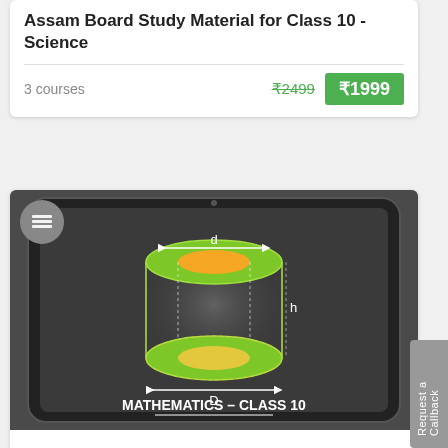Assam Board Study Material for Class 10 - Science
3 courses
₹2499  ₹1999
[Figure (illustration): Tablet device showing a 3D cylinder diagram labeled 'MATHEMATICS - CLASS 10' with diameter d, height h, and base diameter D marked. Green and yellow colored cylinder on dark background.]
Assam Board Study Material for Class 10 - Mathematics
1 courses
₹2499  ₹1999